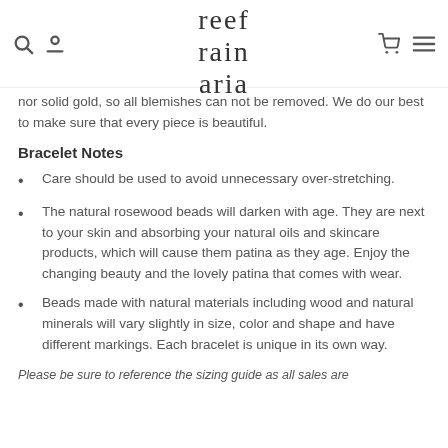reef rain aria
nor solid gold, so all blemishes can not be removed. We do our best to make sure that every piece is beautiful.
Bracelet Notes
Care should be used to avoid unnecessary over-stretching.
The natural rosewood beads will darken with age. They are next to your skin and absorbing your natural oils and skincare products, which will cause them patina as they age. Enjoy the changing beauty and the lovely patina that comes with wear.
Beads made with natural materials including wood and natural minerals will vary slightly in size, color and shape and have different markings. Each bracelet is unique in its own way.
Please be sure to reference the sizing guide as all sales are